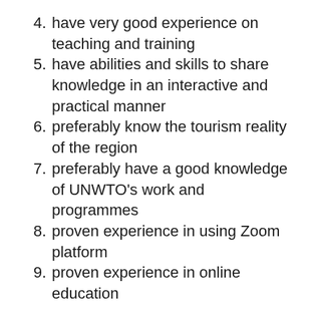4. have very good experience on teaching and training
5. have abilities and skills to share knowledge in an interactive and practical manner
6. preferably know the tourism reality of the region
7. preferably have a good knowledge of UNWTO’s work and programmes
8. proven experience in using Zoom platform
9. proven experience in online education
This UNWTO Training Programme in Croatia for Tourism MSMEs is organised within the COVID-19 framework and has an aim to help mitigate the impact of COVID-19 pandemic by assisting Tourism MSMEs in